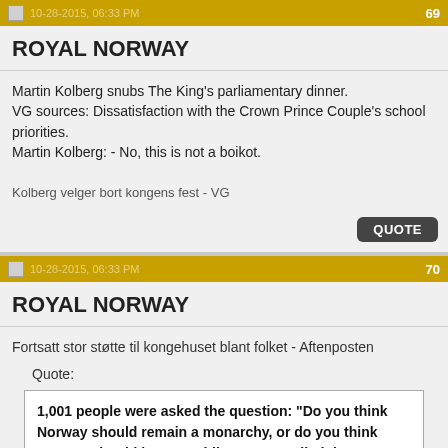10-28-2015, 06:33 PM  69
ROYAL NORWAY
Martin Kolberg snubs The King's parliamentary dinner.
VG sources: Dissatisfaction with the Crown Prince Couple's school priorities.
Martin Kolberg: - No, this is not a boikot.

Kolberg velger bort kongens fest - VG
10-28-2015, 06:33 PM  70
ROYAL NORWAY
Fortsatt stor støtte til kongehuset blant folket - Aftenposten
Quote:
1,001 people were asked the question: "Do you think Norway should remain a monarchy, or do you think Norway should be a republic?" 72% replied that Norway should remain a monarchy. 17 percent replied that Norway should introduce republic. 10 percent replied that they were not sure.